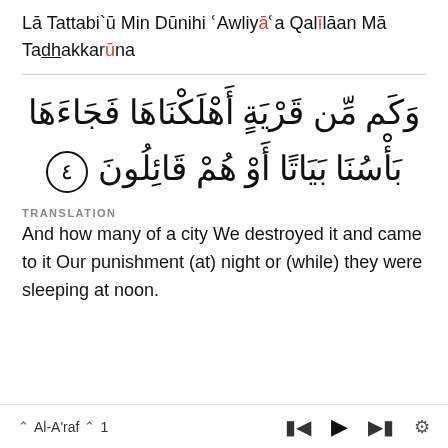Lā Tattabi'ū Min Dūnihi 'Awliyā'a Qalīlāan Mā Tadhakkarūna
[Figure (other): Arabic Quranic text with verse number 4 in a circle]
TRANSLATION
And how many of a city We destroyed it and came to it Our punishment (at) night or (while) they were sleeping at noon.
Al-A'raf  ^  1  |  media controls: prev, play, next, settings